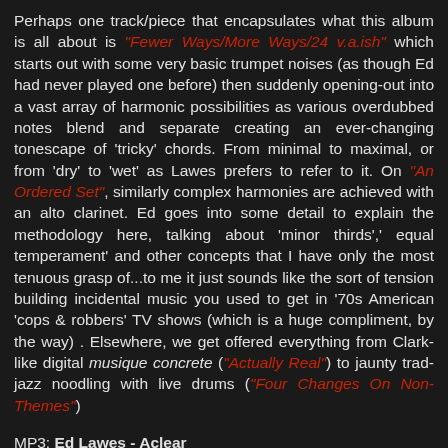Perhaps one track/piece that encapsulates what this album is all about is "Fewer Ways/More Ways/24 v.a.ish" which starts out with some very basic trumpet noises (as though Ed had never played one before) then suddenly opening-out into a vast array of harmonic possibilities as various overdubbed notes blend and separate creating an ever-changing tonescape of 'tricky' chords. From minimal to maximal, or from 'dry' to 'wet' as Lawes prefers to refer to it. On "An Ordered Set", similarly complex harmonies are achieved with an alto clarinet. Ed goes into some detail to explain the methodology here, talking about 'minor thirds',' equal temperament' and other concepts that I have only the most tenuous grasp of...to me it just sounds like the sort of tension building incidental music you used to get in '70s American 'cops & robbers' TV shows (which is a huge compliment, by the way) . Elsewhere, we get offered everything from Clark-like digital musique concrete ("Actually Real") to jaunty trad-jazz noodling with live drums ("Four Changes On Non-Themes")
MP3: Ed Lawes - Aclear